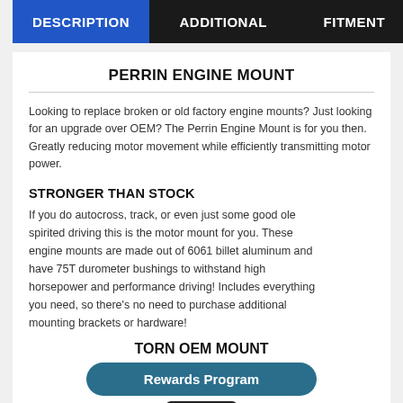DESCRIPTION | ADDITIONAL | FITMENT
PERRIN ENGINE MOUNT
Looking to replace broken or old factory engine mounts? Just looking for an upgrade over OEM? The Perrin Engine Mount is for you then. Greatly reducing motor movement while efficiently transmitting motor power.
STRONGER THAN STOCK
If you do autocross, track, or even just some good ole spirited driving this is the motor mount for you. These engine mounts are made out of 6061 billet aluminum and have 75T durometer bushings to withstand high horsepower and performance driving! Includes everything you need, so there's no need to purchase additional mounting brackets or hardware!
TORN OEM MOUNT
Rewards Program
[Figure (photo): Black engine mount hardware component shown at bottom of page]